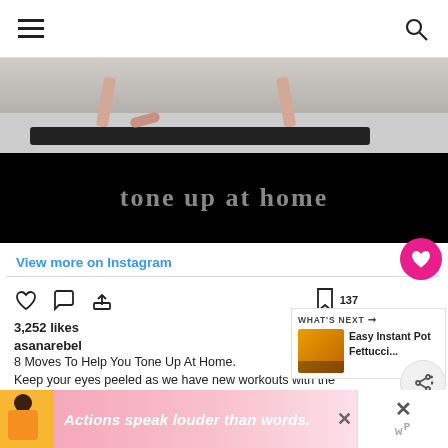menu | search
[Figure (screenshot): Instagram post image showing yoga mat on floor with text overlay 'tone up at home' on dark background]
View more on Instagram
[Figure (infographic): Instagram action icons: heart, comment, share, with 137 bookmark count]
3,252 likes
asanarebel
8 Moves To Help You Tone Up At Home.
Keep your eyes peeled as we have new workouts with the wonderful @kellymandaryoga arriving next week 🙌
[Figure (infographic): What's Next panel showing Easy Instant Pot Fettucci...]
[Figure (photo): Pink heart save button (circle)]
[Figure (screenshot): Ad banner: Actions speak louder than words.]